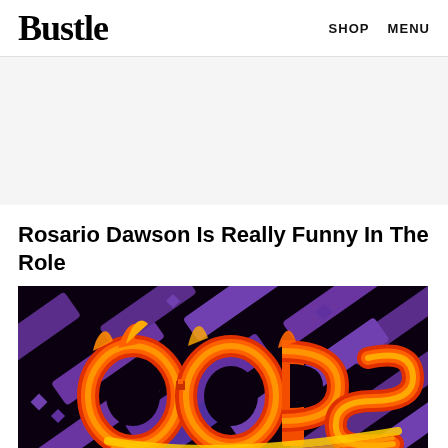Bustle  SHOP  MENU
[Figure (other): Advertisement placeholder area with light gray background]
Rosario Dawson Is Really Funny In The Role
[Figure (illustration): Colorful pixel-art style graphic showing the word 'OOPS' in orange and yellow flame-like lettering on a dark purple/black background with geometric shapes]